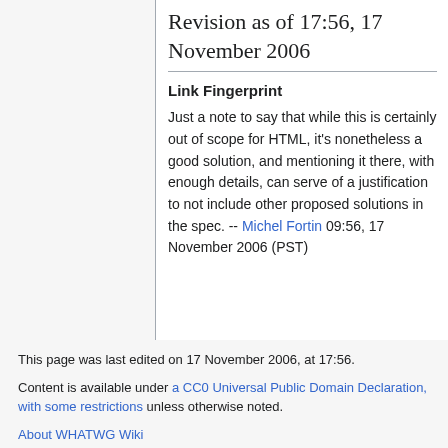Revision as of 17:56, 17 November 2006
Link Fingerprint
Just a note to say that while this is certainly out of scope for HTML, it's nonetheless a good solution, and mentioning it there, with enough details, can serve of a justification to not include other proposed solutions in the spec. -- Michel Fortin 09:56, 17 November 2006 (PST)
This page was last edited on 17 November 2006, at 17:56.
Content is available under a CC0 Universal Public Domain Declaration, with some restrictions unless otherwise noted.
About WHATWG Wiki